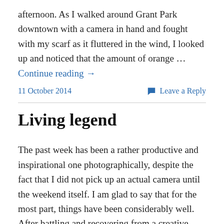afternoon.  As I walked around Grant Park downtown with a camera in hand and fought with my scarf as it fluttered in the wind, I looked up and noticed that the amount of orange … Continue reading →
11 October 2014
Leave a Reply
Living legend
The past week has been a rather productive and inspirational one photographically, despite the fact that I did not pick up an actual camera until the weekend itself.  I am glad to say that for the most part, things have been considerably well.  After battling and recovering from a creative … Continue reading →